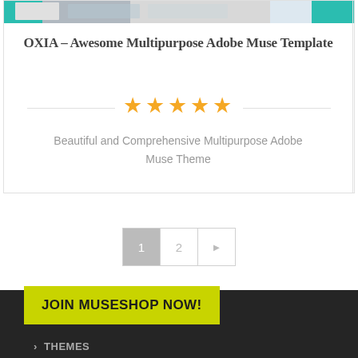[Figure (screenshot): Website product card showing OXIA template with teal/cyan header banner image]
OXIA – Awesome Multipurpose Adobe Muse Template
★★★★★
Beautiful and Comprehensive Multipurpose Adobe Muse Theme
1  2  ▶
JOIN MUSESHOP NOW!
Our Products
THEMES